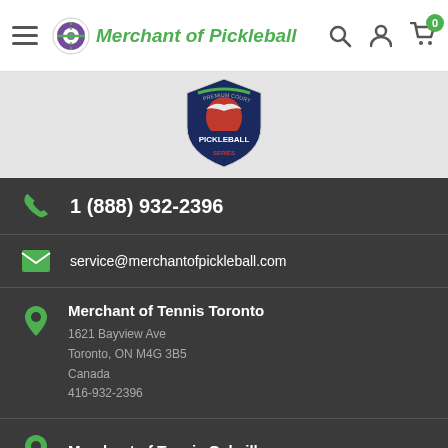Merchant of Pickleball
[Figure (logo): Premium Court Pickleball Series shield logo with eagle emblem]
1 (888) 932-2396
service@merchantofpickleball.com
Merchant of Tennis Toronto
1621 Bayview Ave
Toronto, ON M4G 3B5
Canada
416-932-2396
Merchant of Tennis Oakville